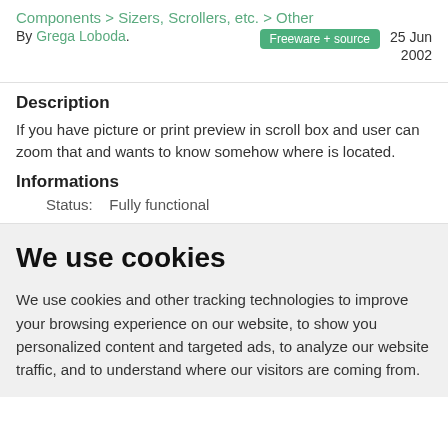Components > Sizers, Scrollers, etc. > Other
By Grega Loboda. [Freeware + source] 25 Jun 2002
Description
If you have picture or print preview in scroll box and user can zoom that and wants to know somehow where is located.
Informations
Status:    Fully functional
We use cookies
We use cookies and other tracking technologies to improve your browsing experience on our website, to show you personalized content and targeted ads, to analyze our website traffic, and to understand where our visitors are coming from.